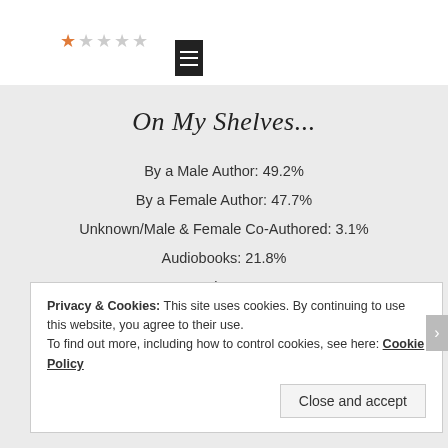[Figure (other): Top bar showing rating stars (1 filled star, 4 empty) and a small book icon/thumbnail on a white background]
On My Shelves...
By a Male Author: 49.2%
By a Female Author: 47.7%
Unknown/Male & Female Co-Authored: 3.1%
Audiobooks: 21.8%
For Review: 95.4%
Genres (some crossover):
Privacy & Cookies: This site uses cookies. By continuing to use this website, you agree to their use.
To find out more, including how to control cookies, see here: Cookie Policy
Close and accept